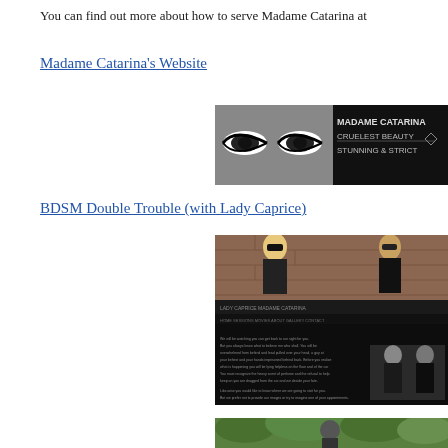You can find out more about how to serve Madame Catarina at
Madame Catarina's Website
[Figure (screenshot): Madame Catarina website banner: close-up of eyes with text MADAME CATARINA CRUELEST BEAUTY STUNNING & STRICT]
BDSM Double Trouble (with Lady Caprice)
[Figure (screenshot): BDSM Double Trouble website screenshot showing two women in sunglasses against a brick wall, dark themed website with text content and a photo of two women in black]
[Figure (photo): Photo of a person in sunglasses outdoors with green foliage background]